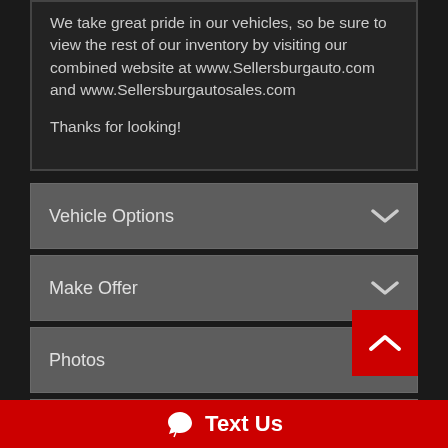We take great pride in our vehicles, so be sure to view the rest of our inventory by visiting our combined website at www.Sellersburgauto.com and www.Sellersburgautosales.com

Thanks for looking!
Vehicle Options
Make Offer
Photos
CarStory®
Vehicle Disclaimer
Text Us